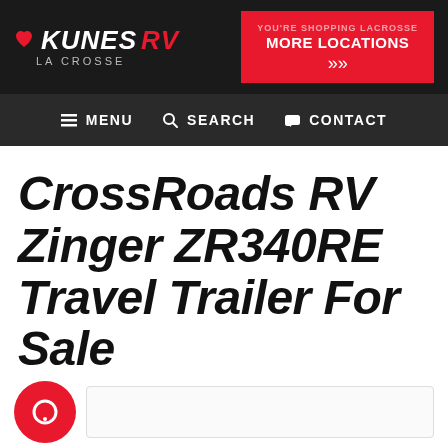[Figure (logo): Kunes RV La Crosse logo with heart icon, white and red text on dark background]
[Figure (infographic): Red button reading YOU'RE SHOPPING LACROSSE / MORE LOCATIONS with chevron chevrons]
MENU  SEARCH  CONTACT
CrossRoads RV Zinger ZR340RE Travel Trailer For Sale
[Figure (illustration): Red circular chat/message icon button at bottom left]